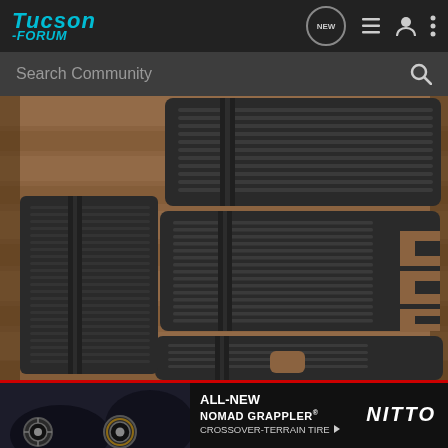Tucson -Forum
Search Community
[Figure (photo): Black rubber all-weather floor mats for Hyundai Tucson laid out on a wooden floor, showing front and rear mats with ridged pattern and custom cutouts]
[Figure (photo): Advertisement banner for Nitto All-New Nomad Grappler Crossover-Terrain Tire showing tire and vehicle]